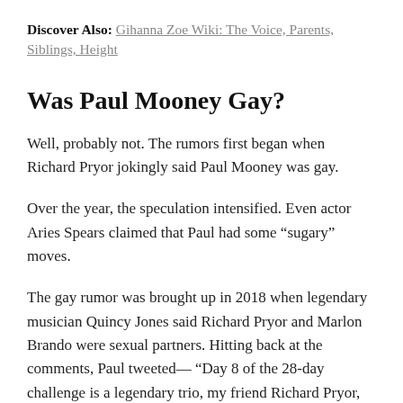Discover Also: Gihanna Zoe Wiki: The Voice, Parents, Siblings, Height
Was Paul Mooney Gay?
Well, probably not. The rumors first began when Richard Pryor jokingly said Paul Mooney was gay.
Over the year, the speculation intensified. Even actor Aries Spears claimed that Paul had some “sugary” moves.
The gay rumor was brought up in 2018 when legendary musician Quincy Jones said Richard Pryor and Marlon Brando were sexual partners. Hitting back at the comments, Paul tweeted— “Day 8 of the 28-day challenge is a legendary trio, my friend Richard Pryor, the great Marlon Brando, geniuses Marvin Gaye and Baldwin, getting too